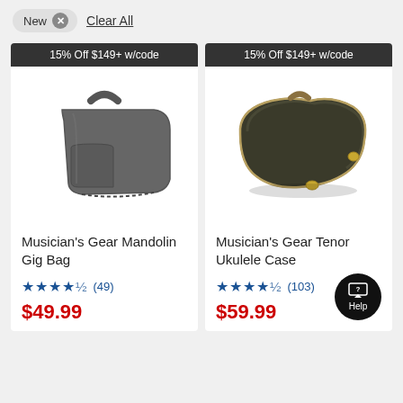New × Clear All
15% Off $149+ w/code
[Figure (photo): Gray fabric mandolin gig bag with handle and front pocket]
Musician's Gear Mandolin Gig Bag
★★★★½ (49)
$49.99
15% Off $149+ w/code
[Figure (photo): Dark brown hard-shell tenor ukulele case with gold hardware]
Musician's Gear Tenor Ukulele Case
★★★★½ (103)
$59.99